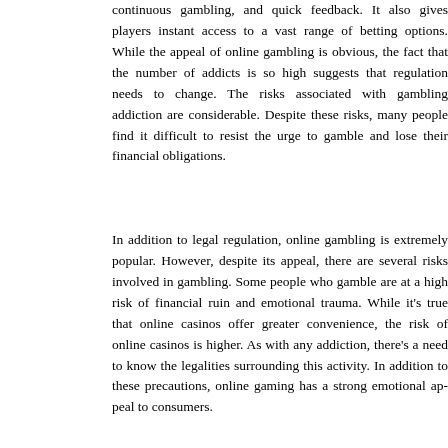continuous gambling, and quick feedback. It also gives players instant access to a vast range of betting options. While the appeal of online gambling is obvious, the fact that the number of addicts is so high suggests that regulation needs to change. The risks associated with gambling addiction are considerable. Despite these risks, many people find it difficult to resist the urge to gamble and lose their financial obligations.
In addition to legal regulation, online gambling is extremely popular. However, despite its appeal, there are several risks involved in gambling. Some people who gamble are at a high risk of financial ruin and emotional trauma. While it's true that online casinos offer greater convenience, the risk of online casinos is higher. As with any addiction, there's a need to know the legalities surrounding this activity. In addition to these precautions, online gaming has a strong emotional appeal to consumers.
In addition to legal regulations, there are also risks associated with online gambling. While most countries prohibit online gambling, many states and regions within the United States and Canada have legalized it. In the United Kingdom, online gambling is not permitted in all areas, including Quebec. A number of jurisdictions in other parts of the world prohibit online gambling. But in the United Kingdom, some exceptions exist in the region. For example, the Pennsylvania Gaming Control Board requires licensed companies to have a gaming license, which allows them to operate legally in the country.
While online gambling is legal in all states, some people may find it hard to resist the temptation. While the game can be addictive for a short period of time, some people become addicted to it for long periods. Consequently, they may lose interest in their daily lives and struggle to meet their social obligations. Fortunately, there a